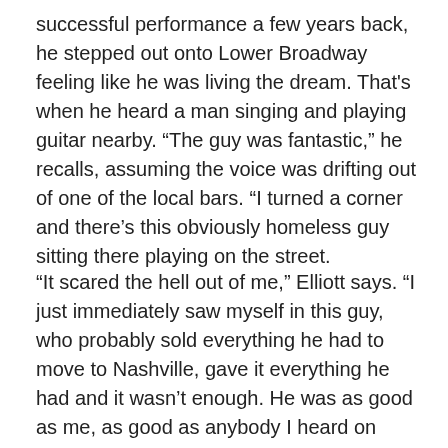successful performance a few years back, he stepped out onto Lower Broadway feeling like he was living the dream. That's when he heard a man singing and playing guitar nearby. “The guy was fantastic,” he recalls, assuming the voice was drifting out of one of the local bars. “I turned a corner and there’s this obviously homeless guy sitting there playing on the street.
“It scared the hell out of me,” Elliott says. “I just immediately saw myself in this guy, who probably sold everything he had to move to Nashville, gave it everything he had and it wasn’t enough. He was as good as me, as good as anybody I heard on Broadway. It was a really somber moment, and it just kind of put the brakes on everything for me.”